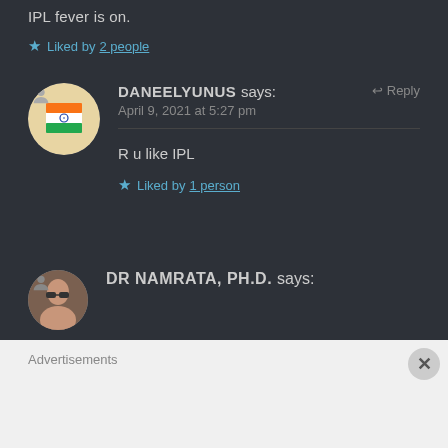IPL fever is on.
Liked by 2 people
DANEELYUNUS says: April 9, 2021 at 5:27 pm
R u like IPL
Liked by 1 person
DR NAMRATA, PH.D. says:
Advertisements